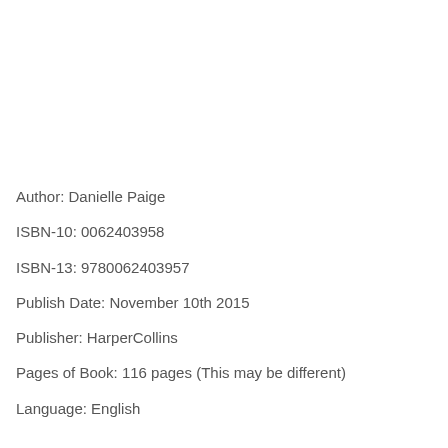Author: Danielle Paige
ISBN-10: 0062403958
ISBN-13: 9780062403957
Publish Date: November 10th 2015
Publisher: HarperCollins
Pages of Book: 116 pages (This may be different)
Language: English